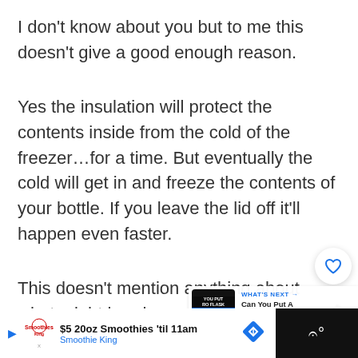I don't know about you but to me this doesn't give a good enough reason.
Yes the insulation will protect the contents inside from the cold of the freezer…for a time. But eventually the cold will get in and freeze the contents of your bottle. If you leave the lid off it'll happen even faster.
This doesn't mention anything about what might break your Hydro Flask or what problem is with putting it in the freezer.
[Figure (screenshot): What's Next overlay with thumbnail showing 'Can You Put A HydroFlask I...' video and floating like/share buttons]
[Figure (screenshot): Advertisement bar for Smoothie King: '$5 20oz Smoothies 'til 11am' with logo, navigation diamond icon, and dark video player area on right]